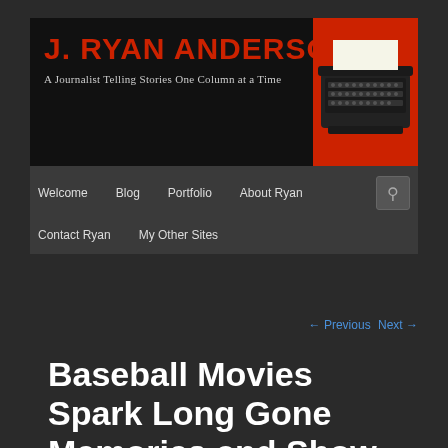J. RYAN ANDERSON — A Journalist Telling Stories One Column at a Time
[Figure (screenshot): Black vintage typewriter on red background in the top-right corner of the header banner]
Welcome   Blog   Portfolio   About Ryan   Contact Ryan   My Other Sites
← Previous   Next →
Baseball Movies Spark Long Gone Memories and Show What Can be